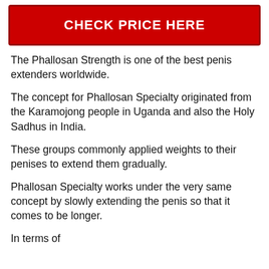[Figure (other): Red button with white bold text reading CHECK PRICE HERE]
The Phallosan Strength is one of the best penis extenders worldwide.
The concept for Phallosan Specialty originated from the Karamojong people in Uganda and also the Holy Sadhus in India.
These groups commonly applied weights to their penises to extend them gradually.
Phallosan Specialty works under the very same concept by slowly extending the penis so that it comes to be longer.
In terms of...